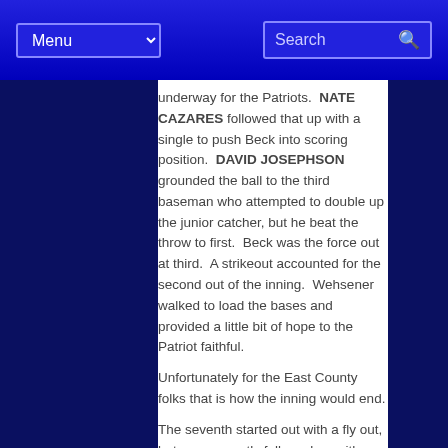Menu | Search
underway for the Patriots.  NATE CAZARES followed that up with a single to push Beck into scoring position.  DAVID JOSEPHSON grounded the ball to the third baseman who attempted to double up the junior catcher, but he beat the throw to first.  Beck was the force out at third.  A strikeout accounted for the second out of the inning.  Wehsener walked to load the bases and provided a little bit of hope to the Patriot faithful.
Unfortunately for the East County folks that is how the inning would end.
The seventh started out with a fly out, but was promptly followed up with a Gershow single to right and he advanced to second when the right fielder misplayed the ball.  After a fly out to left, Beck singled to left centerfield bringing in